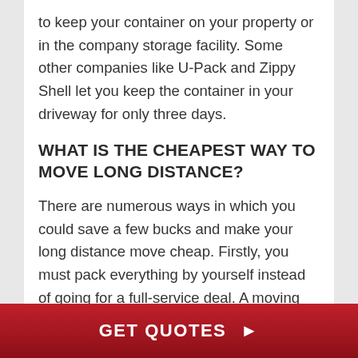to keep your container on your property or in the company storage facility. Some other companies like U-Pack and Zippy Shell let you keep the container in your driveway for only three days.
WHAT IS THE CHEAPEST WAY TO MOVE LONG DISTANCE?
There are numerous ways in which you could save a few bucks and make your long distance move cheap. Firstly, you must pack everything by yourself instead of going for a full-service deal. A moving container move will cost you less
GET QUOTES ▶